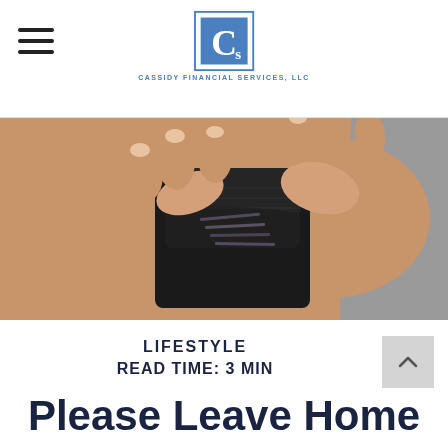Cassidy Financial Services, LLC
[Figure (photo): Hands opening a black leather wallet showing credit cards inside]
LIFESTYLE
READ TIME: 3 MIN
Please Leave Home